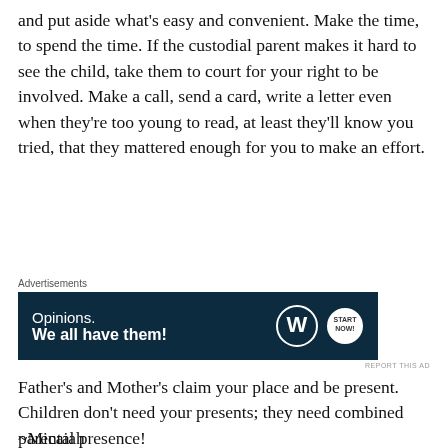and put aside what's easy and convenient. Make the time, to spend the time. If the custodial parent makes it hard to see the child, take them to court for your right to be involved. Make a call, send a card, write a letter even when they're too young to read, at least they'll know you tried, that they mattered enough for you to make an effort.
[Figure (other): Advertisement banner with dark navy background showing 'Opinions. We all have them!' text with WordPress and Start logo icons]
Father's and Mother's claim your place and be present. Children don't need your presents; they need combined parental presence!
~Micaiah